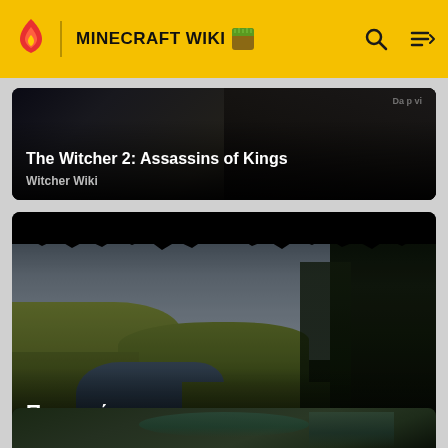MINECRAFT WIKI
[Figure (screenshot): Dark game screenshot card for The Witcher 2: Assassins of Kings with Witcher Wiki source label]
The Witcher 2: Assassins of Kings
Witcher Wiki
[Figure (screenshot): Landscape screenshot showing a river valley with green hills, dark trees on the right, and overcast sky - card for Ποταμοί from Witcher Wiki]
Ποταμοί
Witcher Wiki
[Figure (screenshot): Partial bottom card with dark green forest scene]